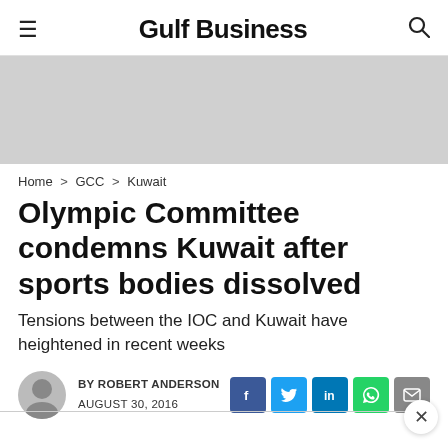Gulf Business
[Figure (photo): Gray placeholder image area for article hero photo]
Home > GCC > Kuwait
Olympic Committee condemns Kuwait after sports bodies dissolved
Tensions between the IOC and Kuwait have heightened in recent weeks
BY ROBERT ANDERSON
AUGUST 30, 2016